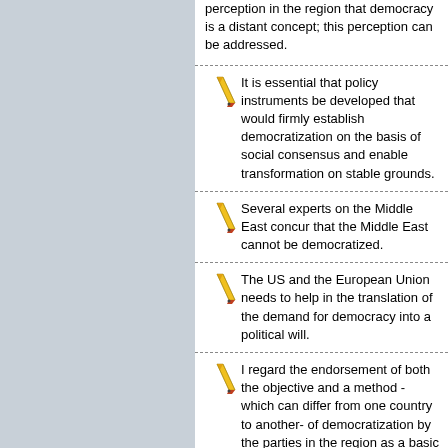perception in the region that democracy is a distant concept; this perception can be addressed.
It is essential that policy instruments be developed that would firmly establish democratization on the basis of social consensus and enable transformation on stable grounds.
Several experts on the Middle East concur that the Middle East cannot be democratized.
The US and the European Union needs to help in the translation of the demand for democracy into a political will.
I regard the endorsement of both the objective and a method - which can differ from one country to another- of democratization by the parties in the region as a basic requisite of democratization in the Middle East.